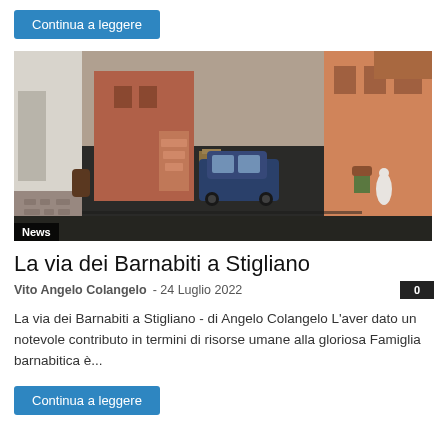Continua a leggere
[Figure (photo): A narrow Italian village street freshly paved with dark asphalt, lined with stone and terracotta-coloured buildings, a blue car parked in the middle distance, potted plants and a white statue visible on the right side.]
News
La via dei Barnabiti a Stigliano
Vito Angelo Colangelo  - 24 Luglio 2022
La via dei Barnabiti a Stigliano - di Angelo Colangelo L'aver dato un notevole contributo in termini di risorse umane alla gloriosa Famiglia barnabitica è...
Continua a leggere